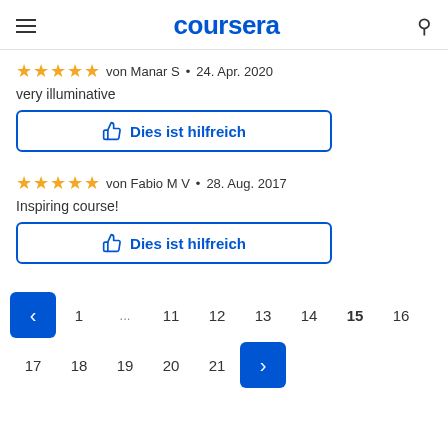coursera
★★★★★  von Manar S  •  24. Apr. 2020
very illuminative
Dies ist hilfreich
★★★★★  von Fabio M V  •  28. Aug. 2017
Inspiring course!
Dies ist hilfreich
‹  1  ...  11  12  13  14  15  16  17  18  19  20  21  ›